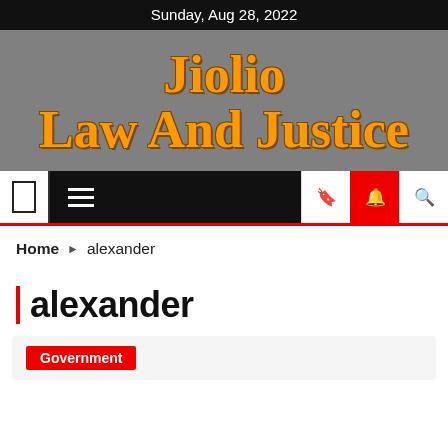Sunday, Aug 28, 2022
Jiolio Law And Justice
[Figure (screenshot): Navigation bar with hamburger menu, bookmark, notification and search icons]
Home ► alexander
alexander
Government